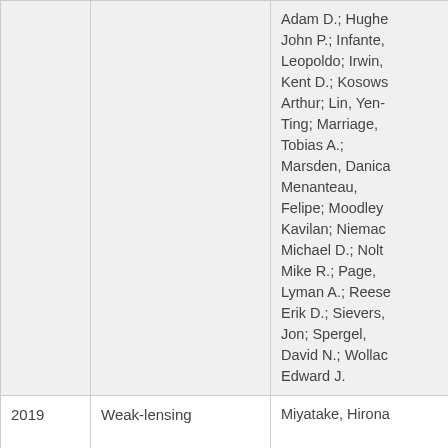| Year | Title | Authors |
| --- | --- | --- |
|  |  | Adam D.; Hughes, John P.; Infante, Leopoldo; Irwin, Kent D.; Kosowsky, Arthur; Lin, Yen-Ting; Marriage, Tobias A.; Marsden, Danica; Menanteau, Felipe; Moodley, Kavilan; Niemack, Michael D.; Nolta, Mike R.; Page, Lyman A.; Reese, Erik D.; Sievers, Jon; Spergel, David N.; Wollack, Edward J. |
| 2019 | Weak-lensing | Miyatake, Hirona... |